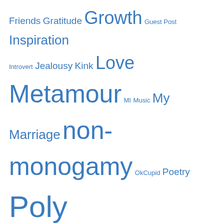[Figure (infographic): Tag cloud with words in various sizes in blue: Friends, Gratitude, Growth, Guest Post, Inspiration, Introvert, Jealousy, Kink, Love, Metamour, MI, Music, My Marriage, non-monogamy, OkCupid, Poetry, Poly, Polyamory, Quote, Rant, Relationships, Secondary, Self Improvement, Sex, Swinging, Writing]
Follow Blog via Email
Enter your email address to follow this blog and receive notifications of new posts by email.
Enter your email address
Follow
Join 1,323 other followers
Top Posts & Pages